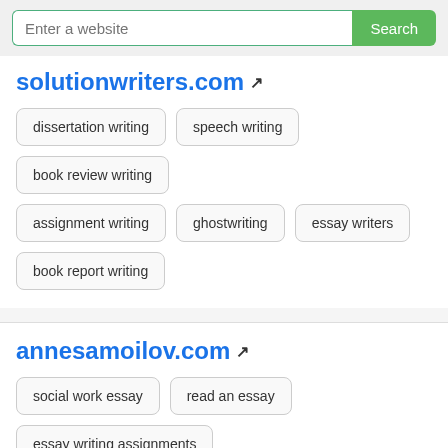Enter a website / Search
solutionwriters.com
dissertation writing
speech writing
book review writing
assignment writing
ghostwriting
essay writers
book report writing
annesamoilov.com
social work essay
read an essay
essay writing assignments